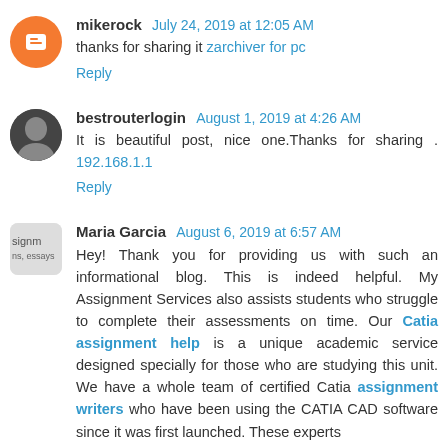mikerock July 24, 2019 at 12:05 AM
thanks for sharing it zarchiver for pc
Reply
bestrouterlogin August 1, 2019 at 4:26 AM
It is beautiful post, nice one.Thanks for sharing . 192.168.1.1
Reply
Maria Garcia August 6, 2019 at 6:57 AM
Hey! Thank you for providing us with such an informational blog. This is indeed helpful. My Assignment Services also assists students who struggle to complete their assessments on time. Our Catia assignment help is a unique academic service designed specially for those who are studying this unit. We have a whole team of certified Catia assignment writers who have been using the CATIA CAD software since it was first launched. These experts